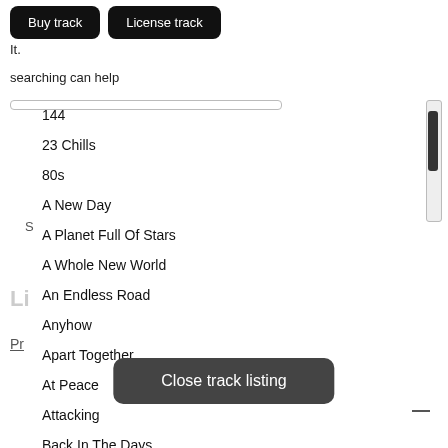It.
searching can help
144
23 Chills
80s
A New Day
A Planet Full Of Stars
A Whole New World
An Endless Road
Anyhow
Apart Together
At Peace
Attacking
Back In The Days
Close track listing